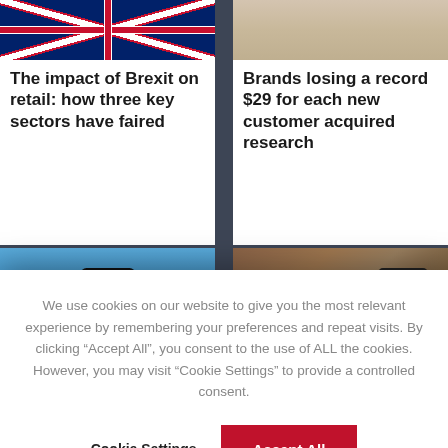[Figure (photo): Union Jack flag photo in top-left card]
The impact of Brexit on retail: how three key sectors have faired
[Figure (photo): Hand holding a credit card or phone, top-right card]
Brands losing a record $29 for each new customer acquired research
We use cookies on our website to give you the most relevant experience by remembering your preferences and repeat visits. By clicking “Accept All”, you consent to the use of ALL the cookies. However, you may visit “Cookie Settings” to provide a controlled consent.
Cookie Settings
Accept All
[Figure (photo): Mobile phone with shopping app on blue background, bottom-left card]
How shopping apps are driving growth amid rising inflatio
[Figure (photo): Hand with red nails holding a phone showing a shoe, wooden background, bottom-right card]
Shoppers turn to product and service